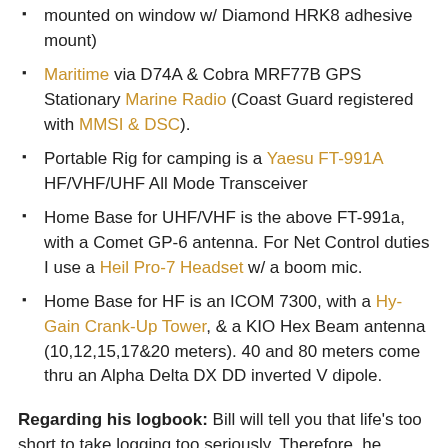mounted on window w/ Diamond HRK8 adhesive mount)
Maritime via D74A & Cobra MRF77B GPS Stationary Marine Radio (Coast Guard registered with MMSI & DSC).
Portable Rig for camping is a Yaesu FT-991A HF/VHF/UHF All Mode Transceiver
Home Base for UHF/VHF is the above FT-991a, with a Comet GP-6 antenna. For Net Control duties I use a Heil Pro-7 Headset w/ a boom mic.
Home Base for HF is an ICOM 7300, with a Hy-Gain Crank-Up Tower, & a KIO Hex Beam antenna (10,12,15,17&20 meters). 40 and 80 meters come thru an Alpha Delta DX DD inverted V dipole.
Regarding his logbook: Bill will tell you that life's too short to take logging too seriously. Therefore, he enjoys casual conversations, occasional incremental logging, and an incomplete unconfirmed logbook. But he will reciprocate with QSL cards (via U.S. mail).